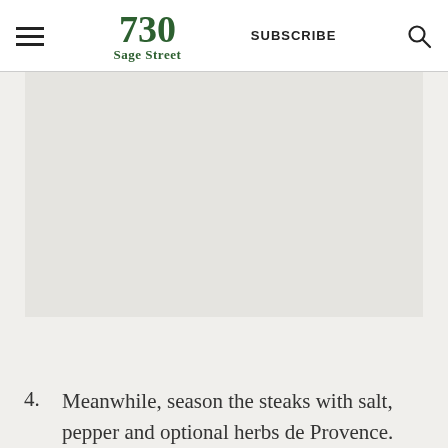730 Sage Street | SUBSCRIBE
[Figure (photo): Food/recipe photo placeholder, light gray background]
4. Meanwhile, season the steaks with salt, pepper and optional herbs de Provence.